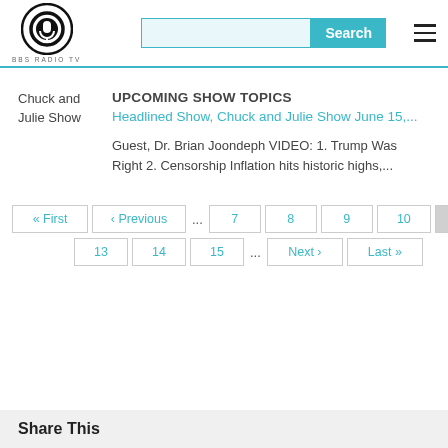BBS RADIO TV
UPCOMING SHOW TOPICS
Chuck and Julie Show
Headlined Show, Chuck and Julie Show June 15,...
Guest, Dr. Brian Joondeph VIDEO: 1. Trump Was Right 2. Censorship Inflation hits historic highs,...
« First ‹ Previous ... 7 8 9 10 11 12 13 14 15 ... Next › Last »
Share This